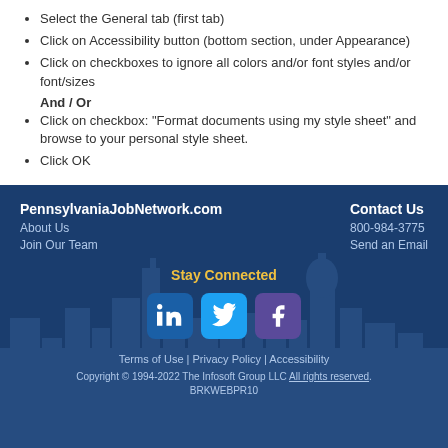Select the General tab (first tab)
Click on Accessibility button (bottom section, under Appearance)
Click on checkboxes to ignore all colors and/or font styles and/or font/sizes And / Or
Click on checkbox: "Format documents using my style sheet" and browse to your personal style sheet.
Click OK
PennsylvaniaJobNetwork.com About Us Join Our Team Contact Us 800-984-3775 Send an Email Stay Connected Terms of Use | Privacy Policy | Accessibility Copyright © 1994-2022 The Infosoft Group LLC All rights reserved. BRKWEBPR10